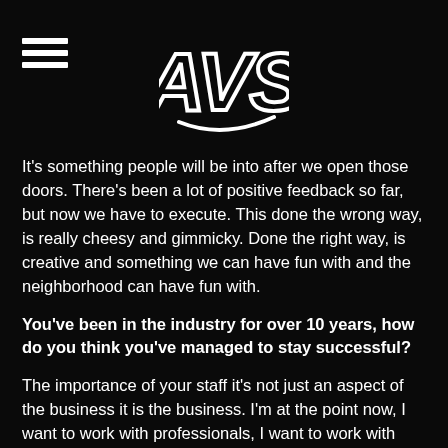AVS logo and hamburger menu
It's something people will be into after we open those doors. There's been a lot of positive feedback so far, but now we have to execute. This done the wrong way, is really cheesy and gimmicky. Done the right way, is creative and something we can have fun with and the neighborhood can have fun with.
You've been in the industry for over 10 years, how do you think you've managed to stay successful?
The importance of your staff it's not just an aspect of the business it is the business. I'm at the point now, I want to work with professionals, I want to work with good people and people with a work ethic. The reason Don't Look Back has made it is not because of me it's because of the crew